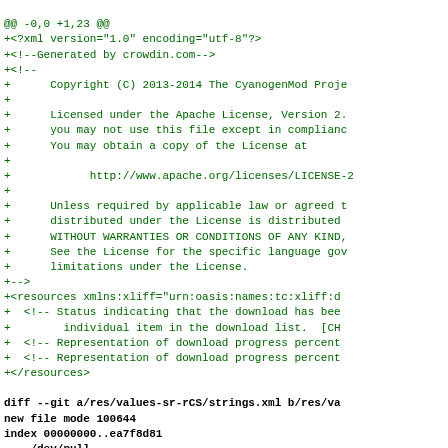@@ -0,0 +1,23 @@
+<?xml version="1.0" encoding="utf-8"?>
+<!--Generated by crowdin.com-->
+<!--
+      Copyright (C) 2013-2014 The CyanogenMod Proje
+
+      Licensed under the Apache License, Version 2.
+      you may not use this file except in complianc
+      You may obtain a copy of the License at
+
+            http://www.apache.org/licenses/LICENSE-2
+
+      Unless required by applicable law or agreed t
+      distributed under the License is distributed
+      WITHOUT WARRANTIES OR CONDITIONS OF ANY KIND,
+      See the License for the specific language gov
+      limitations under the License.
+-->
+<resources xmlns:xliff="urn:oasis:names:tc:xliff:d
+  <!-- Status indicating that the download has bee
+        individual item in the download list.  [CH
+  <!-- Representation of download progress percent
+  <!-- Representation of download progress percent
+</resources>
diff --git a/res/values-sr-rCS/strings.xml b/res/va
new file mode 100644
index 00000000..ea7f8d81
--- /dev/null
+++ b/res/values-sr-rCS/strings.xml